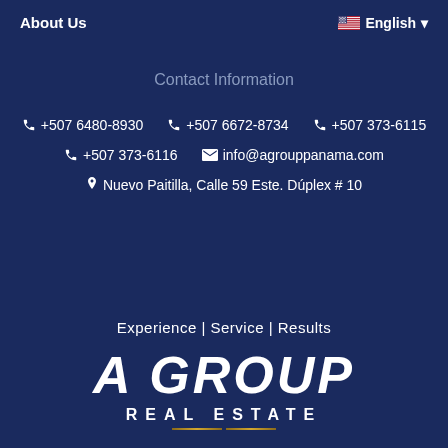About Us   🇺🇸 English ▾
Contact Information
📞 +507 6480-8930   📞 +507 6672-8734   📞 +507 373-6115
📞 +507 373-6116   ✉ info@agrouppanama.com
📍 Nuevo Paitilla, Calle 59 Este. Dúplex # 10
Experience | Service | Results
[Figure (logo): A Group Real Estate logo — large bold italic white text 'A GROUP' with 'REAL ESTATE' below and gold decorative lines]
REAL ESTATE